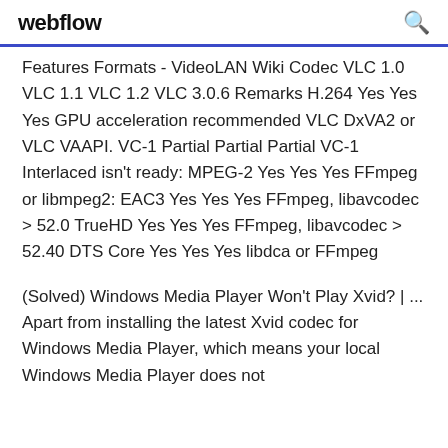webflow
Features Formats - VideoLAN Wiki Codec VLC 1.0 VLC 1.1 VLC 1.2 VLC 3.0.6 Remarks H.264 Yes Yes Yes GPU acceleration recommended VLC DxVA2 or VLC VAAPI. VC-1 Partial Partial Partial VC-1 Interlaced isn't ready: MPEG-2 Yes Yes Yes FFmpeg or libmpeg2: EAC3 Yes Yes Yes FFmpeg, libavcodec > 52.0 TrueHD Yes Yes Yes FFmpeg, libavcodec > 52.40 DTS Core Yes Yes Yes libdca or FFmpeg
(Solved) Windows Media Player Won't Play Xvid? | ... Apart from installing the latest Xvid codec for Windows Media Player, which means your local Windows Media Player does not